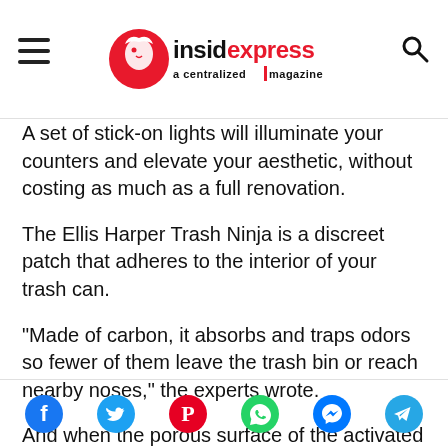insidexpress a centralized magazine
A set of stick-on lights will illuminate your counters and elevate your aesthetic, without costing as much as a full renovation.
The Ellis Harper Trash Ninja is a discreet patch that adheres to the interior of your trash can.
"Made of carbon, it absorbs and traps odors so fewer of them leave the trash bin or reach nearby noses," the experts wrote.
And when the porous surface of the activated carbon becomes inundated with odors, you don't need to
Social sharing icons: Facebook, Twitter, Pinterest, WhatsApp, Messenger, Telegram